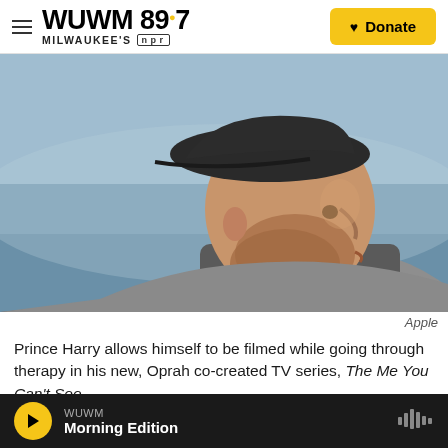WUWM 89.7 Milwaukee's NPR — Donate
[Figure (photo): Side profile of a bearded man wearing a dark baseball cap and grey jacket, with a blurred ocean/lake background. Photo credit: Apple.]
Apple
Prince Harry allows himself to be filmed while going through therapy in his new, Oprah co-created TV series, The Me You Can't See.
WUWM Morning Edition